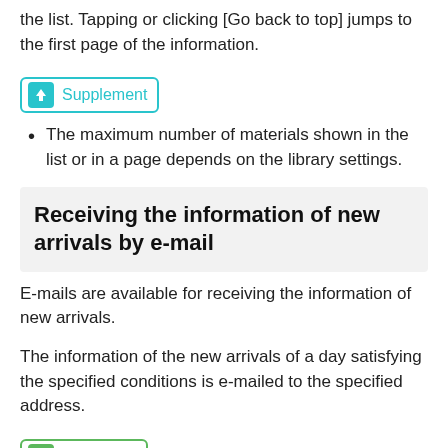the list. Tapping or clicking [Go back to top] jumps to the first page of the information.
[Figure (other): Supplement badge with teal download arrow icon and teal border]
The maximum number of materials shown in the list or in a page depends on the library settings.
Receiving the information of new arrivals by e-mail
E-mails are available for receiving the information of new arrivals.
The information of the new arrivals of a day satisfying the specified conditions is e-mailed to the specified address.
[Figure (other): Reference badge with green document icon and green border]
Changing the notification settings